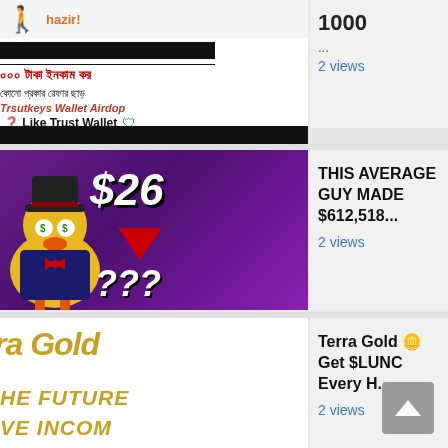[Figure (screenshot): Partial video thumbnail showing stick figure, 'hazir!' text, black redacted bars, Bengali text in red and black, 'Trsutkeys Wallet Airdop', 'Like Trust Wallet' text with shield icon, and another black bar]
1000
...
2 views
[Figure (screenshot): Video thumbnail showing cartoon duck character with dollar sign eyes, '$26' in white stylized text, red downward arrow, and '???' on purple background]
THIS AVERAGE GUY MADE $612,518...
2 views
[Figure (screenshot): Video thumbnail showing 'ra Gold' in large gold italic text, 'HE FUTURE' and 'VE INCOM' text partially visible in gold on white background]
Terra Gold 🪙 Get $LUNC Every H...
2 views